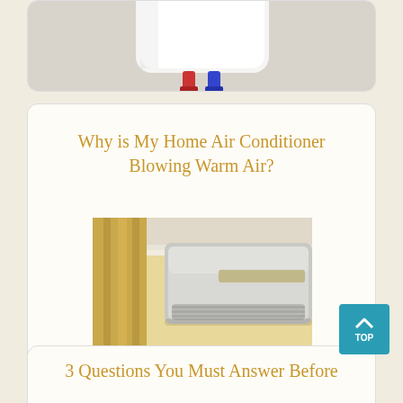[Figure (photo): Partial view of a white water heater appliance with red and blue pipe connectors, on a gray surface]
Why is My Home Air Conditioner Blowing Warm Air?
[Figure (photo): A wall-mounted split air conditioner unit in a room with yellow walls and curtains]
3 Questions You Must Answer Before